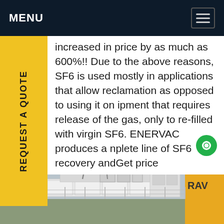MENU
increased in price by as much as 600%!! Due to the above reasons, SF6 is used mostly in applications that allow reclamation as opposed to using it on equipment that requires release of the gas, only to re-filled with virgin SF6. ENERVAC produces a complete line of SF6 recovery andGet price
[Figure (photo): Outdoor electrical substation with white equipment enclosures, power transmission tower/pylon, overhead lines, and a yellow structure visible on the right side. Overcast sky. Text 'RAV' partially visible on yellow equipment.]